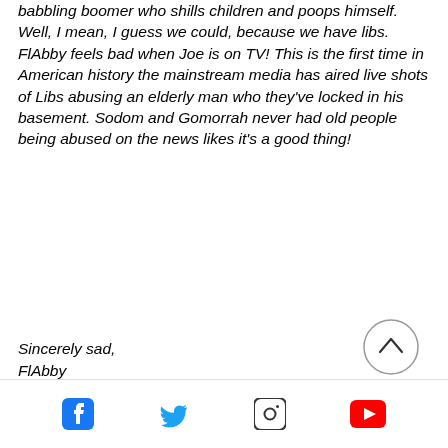babbling boomer who shills children and poops himself. Well, I mean, I guess we could, because we have libs. FlAbby feels bad when Joe is on TV! This is the first time in American history the mainstream media has aired live shots of Libs abusing an elderly man who they've locked in his basement. Sodom and Gomorrah never had old people being abused on the news likes it's a good thing!
Sincerely sad,
FlAbby
[Figure (other): Circular scroll-to-top button with an upward-pointing chevron arrow inside]
Social media icons: Facebook, Twitter, Instagram, YouTube